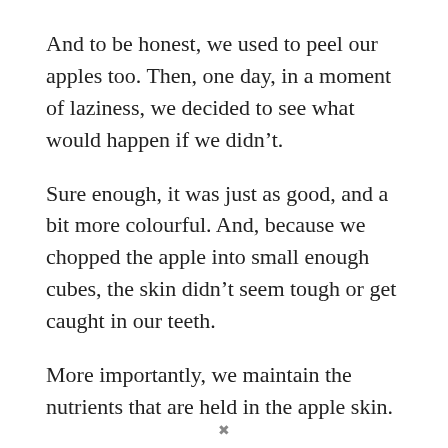And to be honest, we used to peel our apples too. Then, one day, in a moment of laziness, we decided to see what would happen if we didn't.
Sure enough, it was just as good, and a bit more colourful. And, because we chopped the apple into small enough cubes, the skin didn't seem tough or get caught in our teeth.
More importantly, we maintain the nutrients that are held in the apple skin.
Our gluten-free individual apple crumble recipe